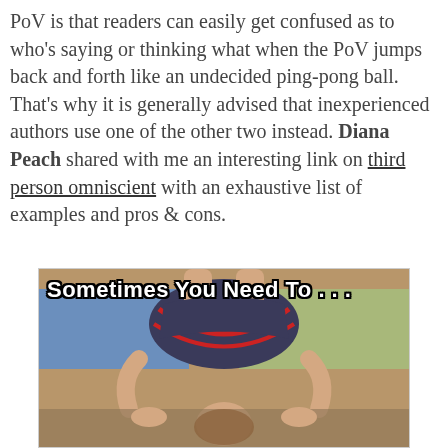PoV is that readers can easily get confused as to who's saying or thinking what when the PoV jumps back and forth like an undecided ping-pong ball. That's why it is generally advised that inexperienced authors use one of the other two instead. Diana Peach shared with me an interesting link on third person omniscient with an exhaustive list of examples and pros & cons.
[Figure (photo): Meme image showing a person doing a headstand or bending over backwards, viewed upside down, with white bold text at the top reading 'Sometimes You Need To . . .']